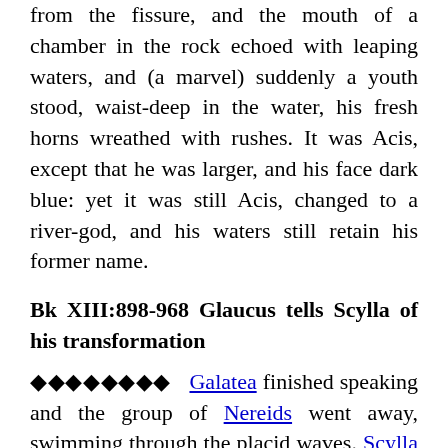from the fissure, and the mouth of a chamber in the rock echoed with leaping waters, and (a marvel) suddenly a youth stood, waist-deep in the water, his fresh horns wreathed with rushes. It was Acis, except that he was larger, and his face dark blue: yet it was still Acis, changed to a river-god, and his waters still retain his former name.
Bk XIII:898-968 Glaucus tells Scylla of his transformation
������ Galatea finished speaking and the group of Nereids went away, swimming through the placid waves. Scylla returned to the beach, not daring to trust herself to mid-ocean, and either wandered naked along the parched sand, or, when she was tired, found a